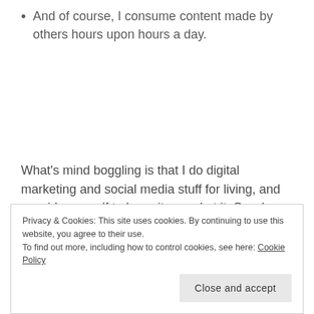And of course, I consume content made by others hours upon hours a day.
What's mind boggling is that I do digital marketing and social media stuff for living, and consider myself to be quite good at it. So why can't I function as a private person? Perhaps there's some peculiar bipolar activity going on between the professional and the private me. The professional me has
Privacy & Cookies: This site uses cookies. By continuing to use this website, you agree to their use.
To find out more, including how to control cookies, see here: Cookie Policy
Close and accept